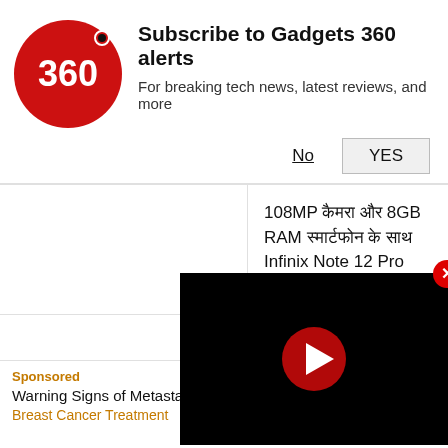[Figure (logo): Gadgets 360 red circle logo with '360' text]
Subscribe to Gadgets 360 alerts
For breaking tech news, latest reviews, and more
No
YES
108MP कैमरा और 8GB RAM स्मार्टफोन के साथ Infinix Note 12 Pro लॉन्च
स्मार्टफोन के कुछ दिन के 5 मिनट के वीडियो रिकॉर्डिंग, यह सारा हुआ वायरल हो!
[Figure (photo): Airtel logo on red background]
84 रुपये के प्लान 2.5GB डेटा Amazon Prime मिलेगी सुविधा Airtel लाएगा, जानिए डिटेल
[Figure (screenshot): Black video player overlay with red play button]
Sponsored
Warning Signs of Metastatic Breast Cancer Shouldn't Be...
Breast Cancer Treatment
Learn More